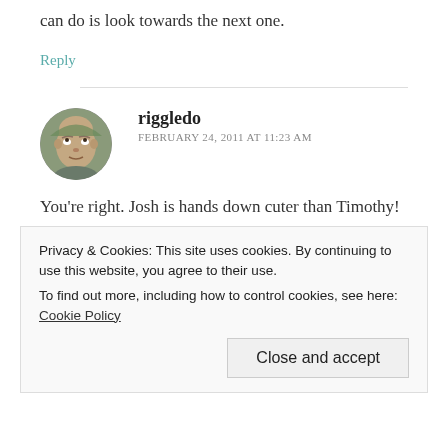can do is look towards the next one.
Reply
[Figure (photo): User avatar photo of riggledo — a man looking upward, circular crop]
riggledo
FEBRUARY 24, 2011 AT 11:23 AM
You're right. Josh is hands down cuter than Timothy!
What's sad about this is, in this particular
Privacy & Cookies: This site uses cookies. By continuing to use this website, you agree to their use.
To find out more, including how to control cookies, see here: Cookie Policy
Close and accept
definitely have to seek up, every moment I